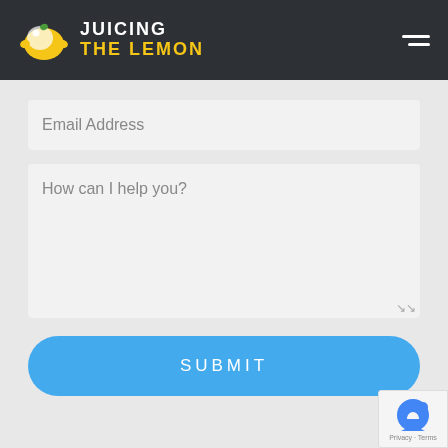[Figure (logo): Juicing The Lemon website header with lemon logo icon and hamburger menu icon on dark background]
Email Address
How can I help you?
SUBMIT
[Figure (other): reCAPTCHA badge with robot icon and Privacy - Terms text]